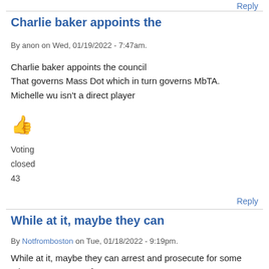Reply
Charlie baker appoints the
By anon on Wed, 01/19/2022 - 7:47am.
Charlie baker appoints the council
That governs Mass Dot which in turn governs MbTA.
Michelle wu isn't a direct player
[Figure (illustration): Orange thumbs up emoji icon]
Voting
closed
43
Reply
While at it, maybe they can
By Notfromboston on Tue, 01/18/2022 - 9:19pm.
While at it, maybe they can arrest and prosecute for some other occurrences of